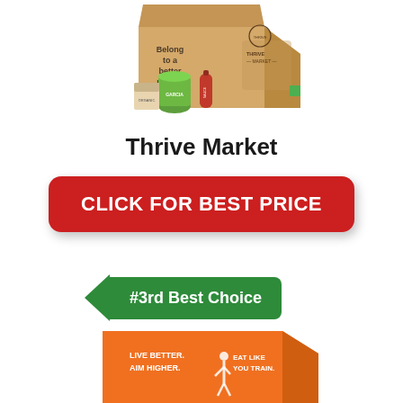[Figure (photo): Thrive Market branded cardboard box with text 'Belong to a better market' and several health food products in front of it, including bottles and a green container]
Thrive Market
CLICK FOR BEST PRICE
#3rd Best Choice
[Figure (photo): Orange subscription box with white text reading 'LIVE BETTER. AIM HIGHER.' and 'EAT LIKE YOU TRAIN.' with a silhouette of a person]